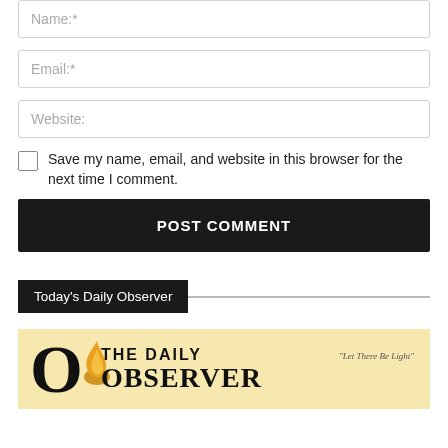Name:*
Email:*
Website:
Save my name, email, and website in this browser for the next time I comment.
POST COMMENT
Today's Daily Observer
[Figure (logo): The Daily Observer newspaper logo on a light yellow/cream background. Large bold O with flame icon, 'THE DAILY' text and partial masthead, tagline 'Let There Be Light']